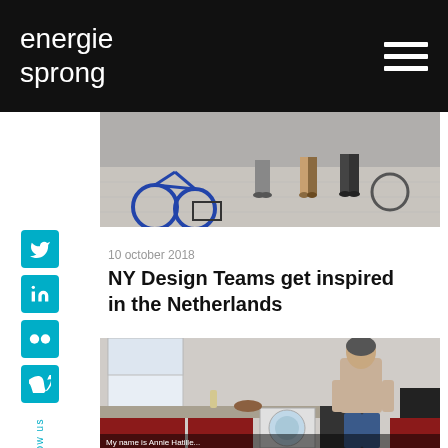energie sprong
[Figure (photo): Street scene with bicycles and people standing on a paved area, viewed from above/mid-level]
10 october 2018
NY Design Teams get inspired in the Netherlands
[Figure (photo): Woman standing in a modern kitchen with red cabinets and a washing machine, with subtitle text partially visible at bottom]